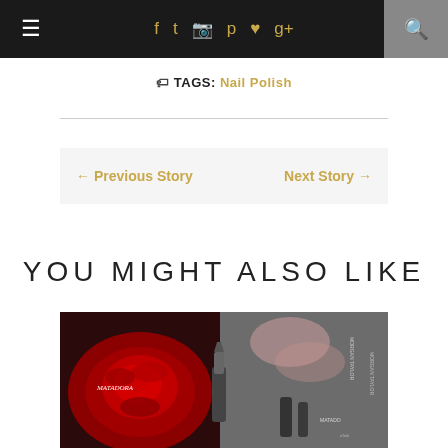Navigation bar with hamburger menu, social icons (facebook, twitter, instagram, pinterest, heart, google+), and search icon
🏷 TAGS: Nail Polish
← Previous Story   Next Story →
YOU MIGHT ALSO LIKE
[Figure (photo): Product photo showing Morgan Taylor nail polish collection including Matadora red rose themed collection and winter/grey themed bottles with a lipstick tube]